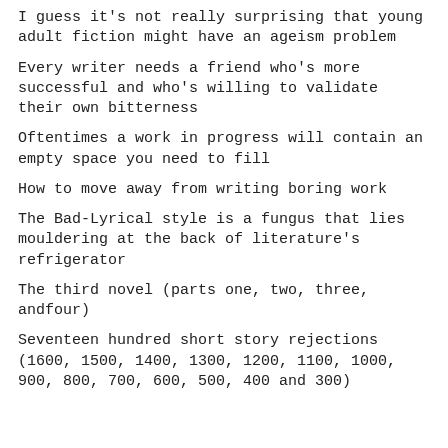I guess it's not really surprising that young adult fiction might have an ageism problem
Every writer needs a friend who's more successful and who's willing to validate their own bitterness
Oftentimes a work in progress will contain an empty space you need to fill
How to move away from writing boring work
The Bad-Lyrical style is a fungus that lies mouldering at the back of literature's refrigerator
The third novel (parts one, two, three, andfour)
Seventeen hundred short story rejections (1600, 1500, 1400, 1300, 1200, 1100, 1000, 900, 800, 700, 600, 500, 400 and 300)